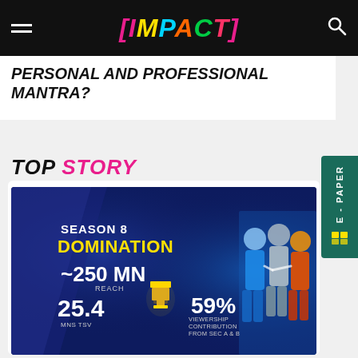[IMPACT]
PERSONAL AND PROFESSIONAL MANTRA?
TOP STORY
[Figure (photo): Season 8 Domination infographic showing kabaddi players. Stats: ~250 MN REACH, 25.4 MNS TSV, 59% VIEWERSHIP CONTRIBUTION FROM SEC A & B]